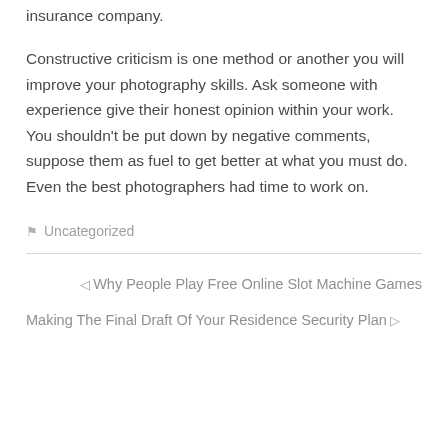insurance company.
Constructive criticism is one method or another you will improve your photography skills. Ask someone with experience give their honest opinion within your work. You shouldn't be put down by negative comments, suppose them as fuel to get better at what you must do. Even the best photographers had time to work on.
🏷 Uncategorized
◁ Why People Play Free Online Slot Machine Games
Making The Final Draft Of Your Residence Security Plan ▷